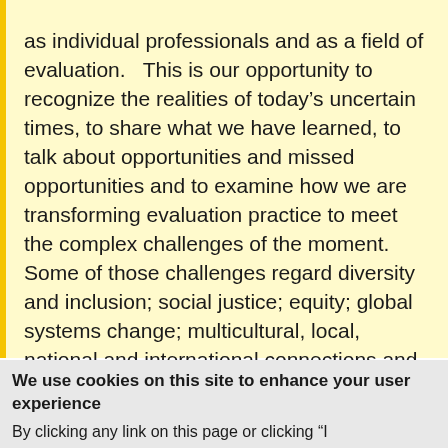as individual professionals and as a field of evaluation.   This is our opportunity to recognize the realities of today's uncertain times, to share what we have learned, to talk about opportunities and missed opportunities and to examine how we are transforming evaluation practice to meet the complex challenges of the moment.  Some of those challenges regard diversity and inclusion; social justice; equity; global systems change; multicultural, local, national and international connections and partnerships and globalization, etcetera.
We use cookies on this site to enhance your user experience
By clicking any link on this page or clicking "I